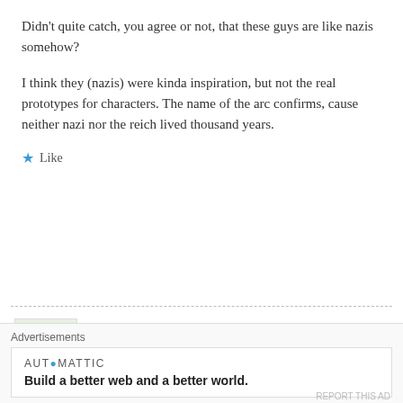Didn't quite catch, you agree or not, that these guys are like nazis somehow?
I think they (nazis) were kinda inspiration, but not the real prototypes for characters. The name of the arc confirms, cause neither nazi nor the reich lived thousand years.
Like
Sunite
July 26, 2012 at 1:20 pm
The first time they introduced Ivan and he wa
Advertisements
AUTOMATTIC
Build a better web and a better world.
REPORT THIS AD